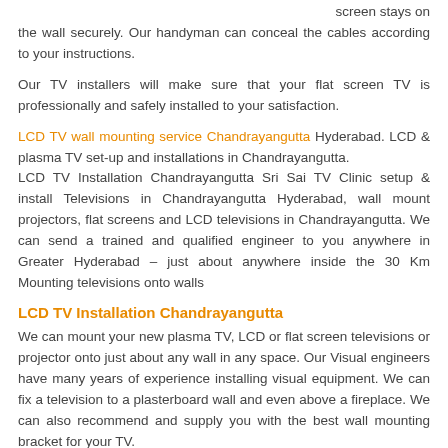screen stays on the wall securely. Our handyman can conceal the cables according to your instructions.
Our TV installers will make sure that your flat screen TV is professionally and safely installed to your satisfaction.
LCD TV wall mounting service Chandrayangutta Hyderabad. LCD & plasma TV set-up and installations in Chandrayangutta. LCD TV Installation Chandrayangutta Sri Sai TV Clinic setup & install Televisions in Chandrayangutta Hyderabad, wall mount projectors, flat screens and LCD televisions in Chandrayangutta. We can send a trained and qualified engineer to you anywhere in Greater Hyderabad – just about anywhere inside the 30 Km Mounting televisions onto walls
LCD TV Installation Chandrayangutta
We can mount your new plasma TV, LCD or flat screen televisions or projector onto just about any wall in any space. Our Visual engineers have many years of experience installing visual equipment. We can fix a television to a plasterboard wall and even above a fireplace. We can also recommend and supply you with the best wall mounting bracket for your TV.
We can supply everything you need for your TV installation – leads, brackets and fixings.